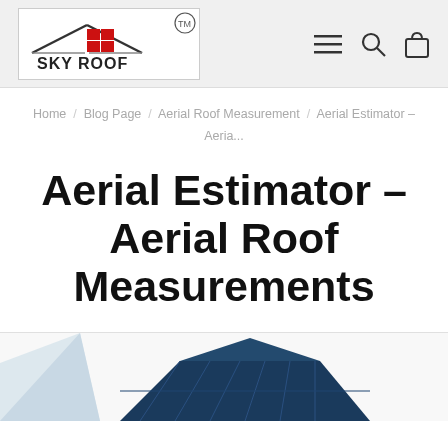SKY ROOF TM
Home / Blog Page / Aerial Roof Measurement / Aerial Estimator – Aeria...
Aerial Estimator – Aerial Roof Measurements
[Figure (photo): Partial view of a house roof from below, visible at the bottom of the page]